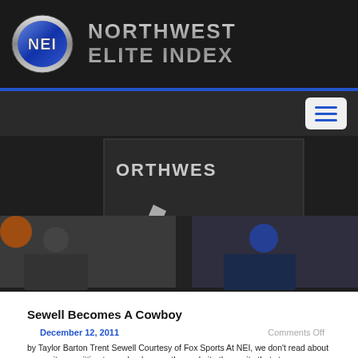[Figure (logo): Northwest Elite Index logo with NEI oval emblem and site name in metallic text on dark background]
[Figure (photo): Composite banner image showing football player photos with Northwest Elite text overlay and stars]
Sewell Becomes A Cowboy
December 12, 2011
Comments Off
by Taylor Barton Trent Sewell Courtesy of Fox Sports At NEI, we don't read about a recruit committing to a school on another website then write that story on ours and claim we're bringing breaking news. We'll leave that to the sites that charge